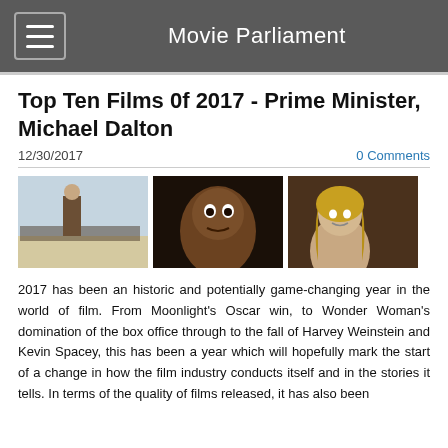Movie Parliament
Top Ten Films 0f 2017 - Prime Minister, Michael Dalton
12/30/2017
0 Comments
[Figure (photo): Three movie stills side by side: a soldier on a beach (Dunkirk), a man with an alarmed expression (Get Out), and a blonde woman looking distressed (mother!)]
2017 has been an historic and potentially game-changing year in the world of film. From Moonlight's Oscar win, to Wonder Woman's domination of the box office through to the fall of Harvey Weinstein and Kevin Spacey, this has been a year which will hopefully mark the start of a change in how the film industry conducts itself and in the stories it tells. In terms of the quality of films released, it has also been